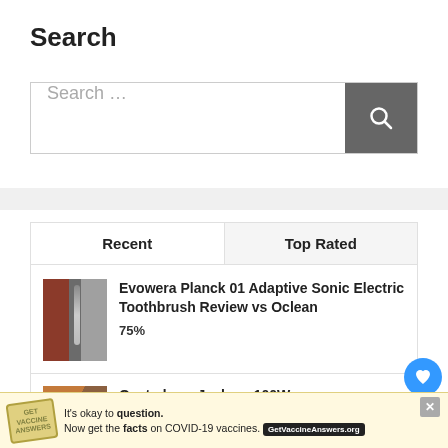Search
Search …
Recent | Top Rated
Evowera Planck 01 Adaptive Sonic Electric Toothbrush Review vs Oclean
75%
Oystade vs Jackery 100W
It's okay to question. Now get the facts on COVID-19 vaccines. GetVaccineAnswers.org